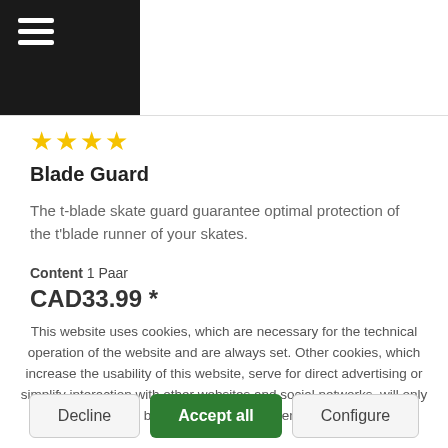[Figure (other): Black navigation bar with hamburger menu icon (three horizontal white lines)]
★★★★
Blade Guard
The t-blade skate guard guarantee optimal protection of the t'blade runner of your skates.
Content 1 Paar
CAD33.99 *
This website uses cookies, which are necessary for the technical operation of the website and are always set. Other cookies, which increase the usability of this website, serve for direct advertising or simplify interaction with other websites and social networks, will only be used with your consent.
Decline
Accept all
Configure